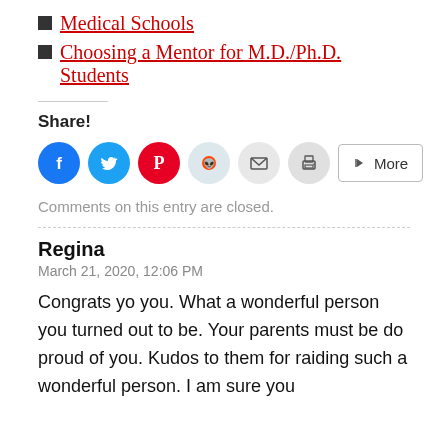Medical Schools
Choosing a Mentor for M.D./Ph.D. Students
Share!
[Figure (infographic): Social sharing buttons: Facebook (blue circle), Twitter (blue circle), Pinterest (red circle), Reddit (light blue circle), Email (grey circle), Print (grey circle), More button]
Comments on this entry are closed.
Regina
March 21, 2020, 12:06 PM
Congrats yo you. What a wonderful person you turned out to be. Your parents must be do proud of you. Kudos to them for raiding such a wonderful person. I am sure you